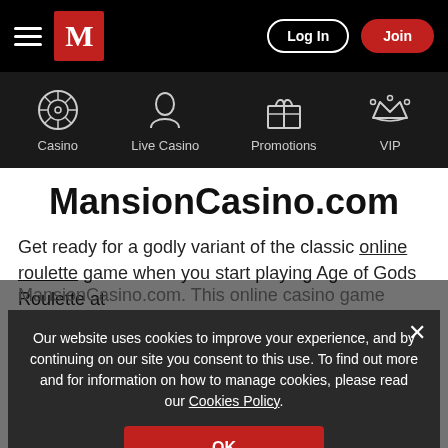[Figure (screenshot): Top navigation bar with hamburger menu, Mansion Casino M logo, Log In button, and Join button on black background]
[Figure (screenshot): Secondary navigation bar with icons and labels: Casino, Live Casino, Promotions, VIP on dark background]
MansionCasino.com
Get ready for a godly variant of the classic online roulette game when you start playing Age of Gods Roulette at MansionCasino.com. This online casino game combines online slots and roulette, and lets you win one of four progressive jackpots.
Our website uses cookies to improve your experience, and by continuing on our site you consent to this use. To find out more and for information on how to manage cookies, please read our Cookies Policy.